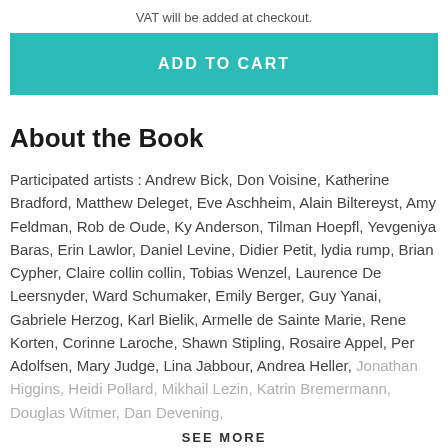VAT will be added at checkout.
ADD TO CART
About the Book
Participated artists : Andrew Bick, Don Voisine, Katherine Bradford, Matthew Deleget, Eve Aschheim, Alain Biltereyst, Amy Feldman, Rob de Oude, Ky Anderson, Tilman Hoepfl, Yevgeniya Baras, Erin Lawlor, Daniel Levine, Didier Petit, lydia rump, Brian Cypher, Claire collin collin, Tobias Wenzel, Laurence De Leersnyder, Ward Schumaker, Emily Berger, Guy Yanai, Gabriele Herzog, Karl Bielik, Armelle de Sainte Marie, Rene Korten, Corinne Laroche, Shawn Stipling, Rosaire Appel, Per Adolfsen, Mary Judge, Lina Jabbour, Andrea Heller, Jonathan Higgins, Heidi Pollard, Mikhail Lezin, Katrin Bremermann, Douglas Witmer, Dan Devening,
SEE MORE